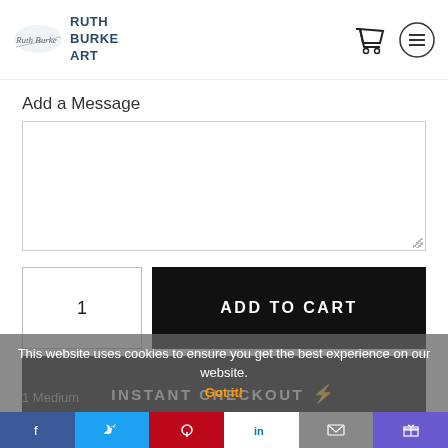[Figure (logo): Ruth Burke Art logo with stylized script image and bold text reading RUTH BURKE ART]
[Figure (other): Shopping cart icon in header]
[Figure (other): Hamburger menu icon (three lines in circle) in header]
Add a Message
[Figure (screenshot): Empty text area input box for message]
1
ADD TO CART
INSTANT CHECKOUT ⚡
1 Medium
This website uses cookies to ensure you get the best experience on our website.
Got it!